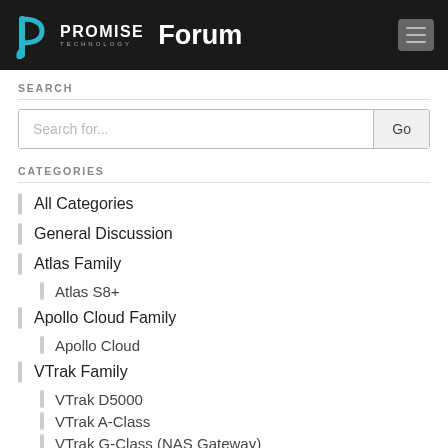PROMISE TECHNOLOGY Forum
SEARCH
CATEGORIES
All Categories
General Discussion
Atlas Family
Atlas S8+
Apollo Cloud Family
Apollo Cloud
VTrak Family
VTrak D5000
VTrak A-Class
VTrak G-Class (NAS Gateway)
VTrak E5000
VTrak J5000